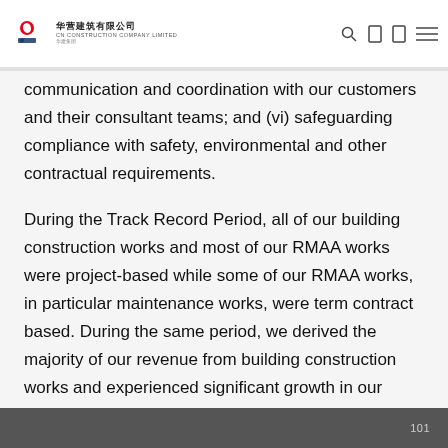CN Construction Company Limited
communication and coordination with our customers and their consultant teams; and (vi) safeguarding compliance with safety, environmental and other contractual requirements.
During the Track Record Period, all of our building construction works and most of our RMAA works were project-based while some of our RMAA works, in particular maintenance works, were term contract based. During the same period, we derived the majority of our revenue from building construction works and experienced significant growth in our revenue.
101